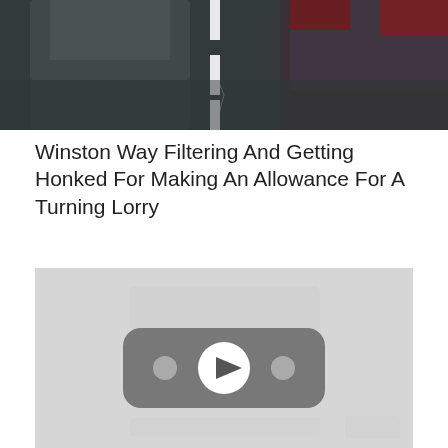[Figure (photo): Top portion of a road/traffic scene showing cars on a dark wet road with white lane markings, partially cropped at the top.]
Winston Way Filtering And Getting Honked For Making An Allowance For A Turning Lorry
[Figure (screenshot): A YouTube video embed placeholder showing a light gray background with a centered YouTube play button icon (rounded rectangle with play triangle symbol).]